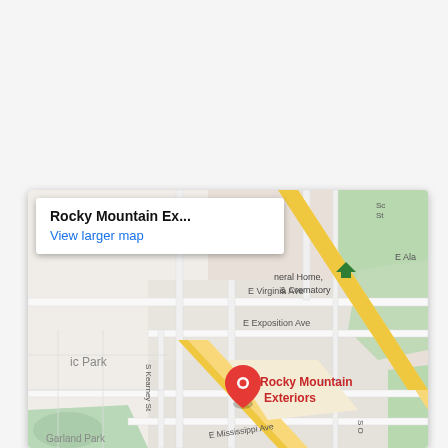[Figure (map): Google Maps embedded map showing the location of Rocky Mountain Exteriors. The map displays streets including E Virginia Ave, E Exposition Ave, E Mississippi Ave, S Kearney St, and nearby landmarks including a Funeral Home & Crematory and Garland Park. A red location pin marks Rocky Mountain Exteriors. A popup overlay in the top-left shows 'Rocky Mountain Ex...' and 'View larger map' link.]